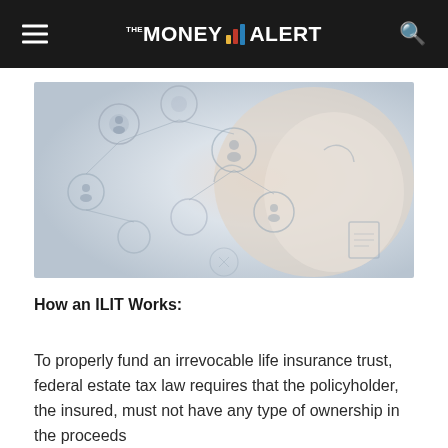THE MONEY ALERT
[Figure (photo): Abstract network/social connection illustration with silhouetted figures connected by lines and circles on a gray-blue background, with a hand reaching toward the network in the foreground.]
How an ILIT Works:
To properly fund an irrevocable life insurance trust, federal estate tax law requires that the policyholder, the insured, must not have any type of ownership in the proceeds